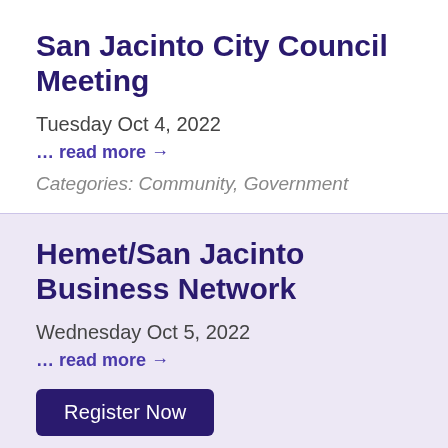San Jacinto City Council Meeting
Tuesday Oct 4, 2022
… read more →
Categories: Community, Government
Hemet/San Jacinto Business Network
Wednesday Oct 5, 2022
… read more →
Register Now
Kiwanis Club of Hemet-